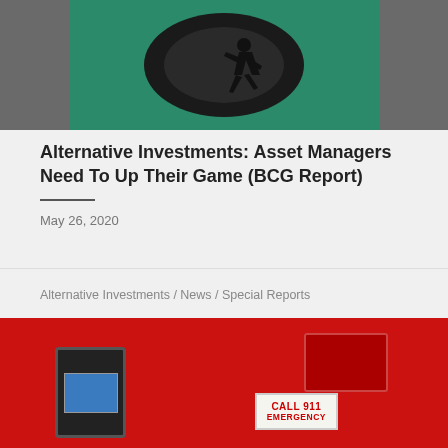[Figure (photo): A silhouette of a running person against a dark circular tunnel background on a green backdrop, with dark gray borders on sides]
Alternative Investments: Asset Managers Need To Up Their Game (BCG Report)
May 26, 2020
Alternative Investments / News / Special Reports
[Figure (photo): Red background with a device screen showing images on the left and a red emergency box with a white CALL 911 EMERGENCY label sign]